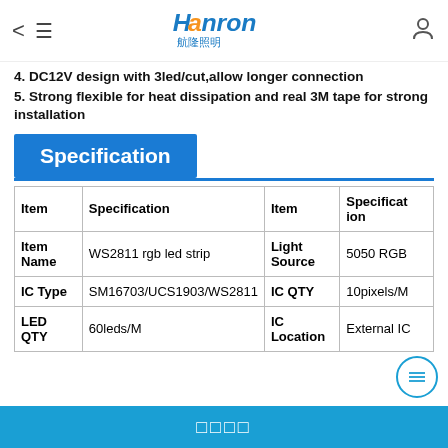Hanron
4. DC12V design with 3led/cut,allow longer connection
5. Strong flexible for heat dissipation and real 3M tape for strong installation
Specification
| Item | Specification | Item | Specification |
| --- | --- | --- | --- |
| Item Name | WS2811 rgb led strip | Light Source | 5050 RGB |
| IC Type | SM16703/UCS1903/WS2811 | IC QTY | 10pixels/M |
| LED QTY | 60leds/M | IC Location | External IC |
□□□□